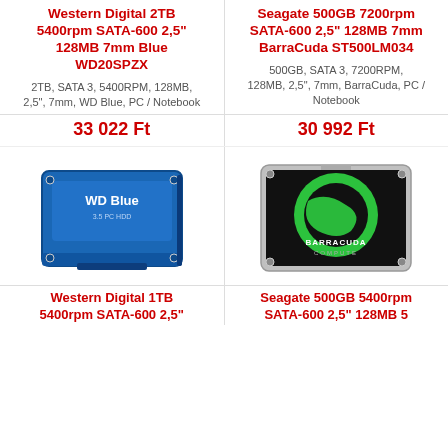Western Digital 2TB 5400rpm SATA-600 2,5" 128MB 7mm Blue WD20SPZX
2TB, SATA 3, 5400RPM, 128MB, 2,5", 7mm, WD Blue, PC / Notebook
Seagate 500GB 7200rpm SATA-600 2,5" 128MB 7mm BarraCuda ST500LM034
500GB, SATA 3, 7200RPM, 128MB, 2,5", 7mm, BarraCuda, PC / Notebook
33 022 Ft
30 992 Ft
[Figure (photo): WD Blue hard drive product photo]
[Figure (photo): Seagate BarraCuda hard drive product photo]
Western Digital 1TB 5400rpm SATA-600 2,5"
Seagate 500GB 5400rpm SATA-600 2,5" 128MB 5